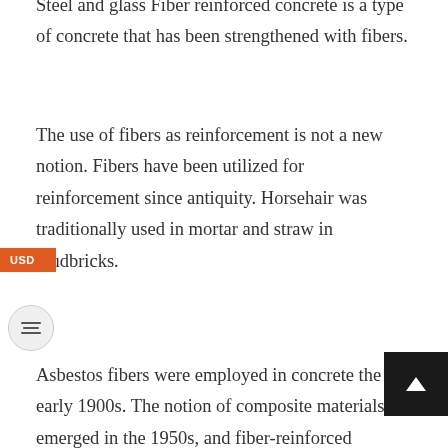Steel and glass Fiber reinforced concrete is a type of concrete that has been strengthened with fibers.
The use of fibers as reinforcement is not a new notion. Fibers have been utilized for reinforcement since antiquity. Horsehair was traditionally used in mortar and straw in mudbricks.
Asbestos fibers were employed in concrete the early 1900s. The notion of composite materials emerged in the 1950s, and fiber-reinforced concrete was one of the areas of